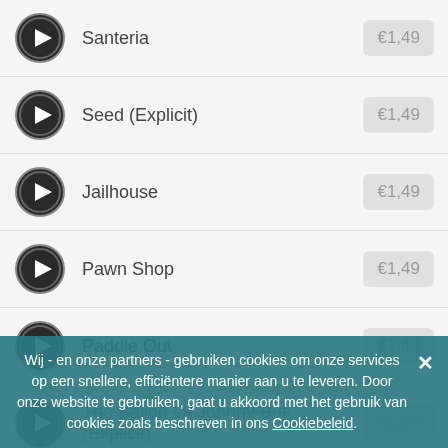Santeria €1,49
Seed (Explicit) €1,49
Jailhouse €1,49
Pawn Shop €1,49
Paddle Out €1,49
The Ballad Of Johnny Butt (Explicit) €1,49
Wij - en onze partners - gebruiken cookies om onze services op een snellere, efficiëntere manier aan u te leveren. Door onze website te gebruiken, gaat u akkoord met het gebruik van cookies zoals beschreven in ons Cookiebeleid.